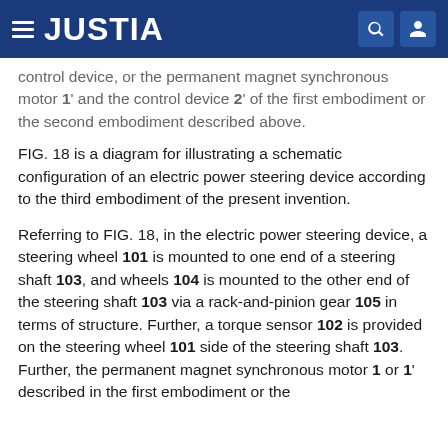JUSTIA
control device, or the permanent magnet synchronous motor 1' and the control device 2' of the first embodiment or the second embodiment described above.
FIG. 18 is a diagram for illustrating a schematic configuration of an electric power steering device according to the third embodiment of the present invention.
Referring to FIG. 18, in the electric power steering device, a steering wheel 101 is mounted to one end of a steering shaft 103, and wheels 104 is mounted to the other end of the steering shaft 103 via a rack-and-pinion gear 105 in terms of structure. Further, a torque sensor 102 is provided on the steering wheel 101 side of the steering shaft 103. Further, the permanent magnet synchronous motor 1 or 1' described in the first embodiment or the